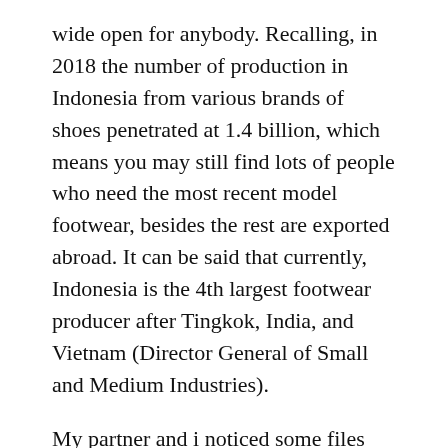wide open for anybody. Recalling, in 2018 the number of production in Indonesia from various brands of shoes penetrated at 1.4 billion, which means you may still find lots of people who need the most recent model footwear, besides the rest are exported abroad. It can be said that currently, Indonesia is the 4th largest footwear producer after Tingkok, India, and Vietnam (Director General of Small and Medium Industries).
My partner and i noticed some files displayed in Beritagar as well.id there is an increase in the number of shoe production in 2017 to the export sector reached $ 4.9 billion in footwear or can end up being stated to get all over 2.7 percent